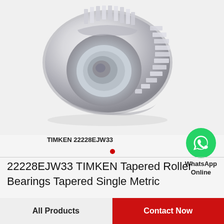[Figure (photo): TIMKEN 22228EJW33 tapered roller bearing product photo on light gray background]
TIMKEN 22228EJW33
[Figure (logo): WhatsApp green phone icon circle logo with text 'WhatsApp Online']
22228EJW33 TIMKEN Tapered Roller Bearings Tapered Single Metric
All Products
Contact Now